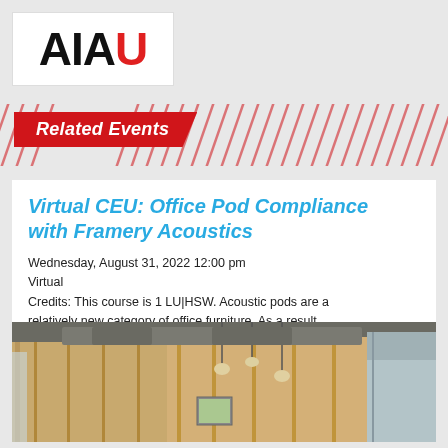[Figure (logo): AIAU logo with AI in black and U in red]
Related Events
Virtual CEU: Office Pod Compliance with Framery Acoustics
Wednesday, August 31, 2022 12:00 pm
Virtual
Credits: This course is 1 LU|HSW. Acoustic pods are a relatively new category of office furniture. As a result, standards…
Learn more →
[Figure (photo): Interior photo of office space with wood panel walls, hanging pendant lights, and exposed ceiling]